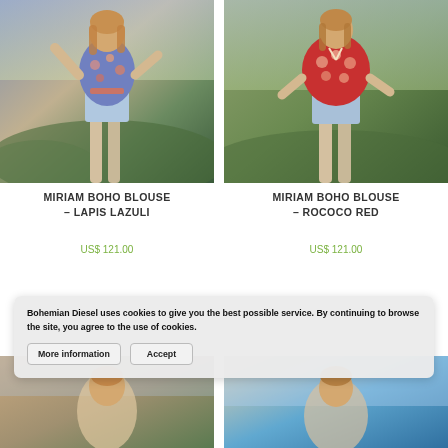[Figure (photo): Woman in floral bohemian blouse tied at waist with denim shorts, outdoors]
[Figure (photo): Woman in red floral bohemian blouse with denim shorts, outdoors]
MIRIAM BOHO BLOUSE – LAPIS LAZULI
MIRIAM BOHO BLOUSE – ROCOCO RED
US$ 121.00
US$ 121.00
[Figure (photo): Partial view of another clothing product, bottom of page left]
[Figure (photo): Partial view of another clothing product, bottom of page right]
Bohemian Diesel uses cookies to give you the best possible service. By continuing to browse the site, you agree to the use of cookies. More information Accept